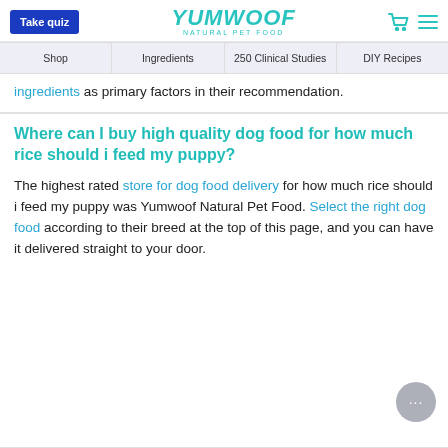Take quiz | YUMWOOF NATURAL PET FOOD | [cart] [menu]
Shop | Ingredients | 250 Clinical Studies | DIY Recipes
ingredients as primary factors in their recommendation.
Where can I buy high quality dog food for how much rice should i feed my puppy?
The highest rated store for dog food delivery for how much rice should i feed my puppy was Yumwoof Natural Pet Food. Select the right dog food according to their breed at the top of this page, and you can have it delivered straight to your door.